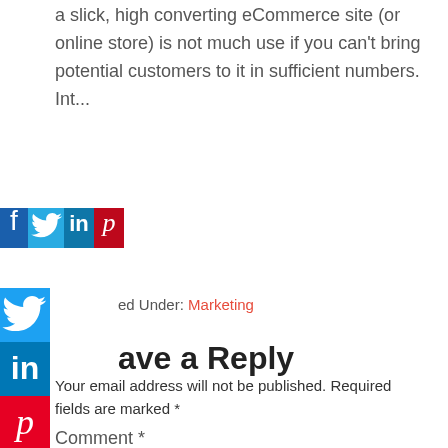a slick, high converting eCommerce site (or online store) is not much use if you can't bring potential customers to it in sufficient numbers. Int...
[Figure (infographic): Horizontal row of four social sharing buttons: Facebook (dark blue), Twitter (light blue), LinkedIn (blue), Pinterest (red). Below that, a vertical sidebar with the same four icons stacked.]
ed Under: Marketing
ave a Reply
Your email address will not be published. Required fields are marked *
Comment *